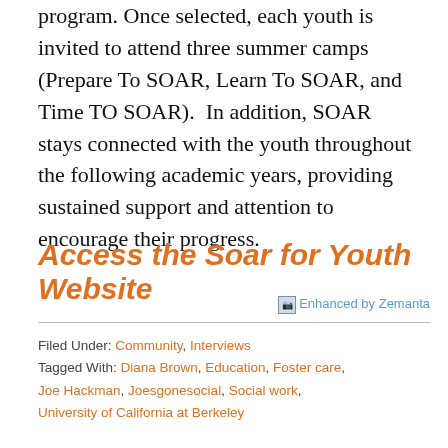program. Once selected, each youth is invited to attend three summer camps (Prepare To SOAR, Learn To SOAR, and Time TO SOAR).  In addition, SOAR stays connected with the youth throughout the following academic years, providing sustained support and attention to encourage their progress.
Access the Soar for Youth Website
[Figure (other): Zemanta enhanced content badge with small image icon and text 'Enhanced by Zemanta']
Filed Under: Community, Interviews
Tagged With: Diana Brown, Education, Foster care, Joe Hackman, Joesgonesocial, Social work, University of California at Berkeley